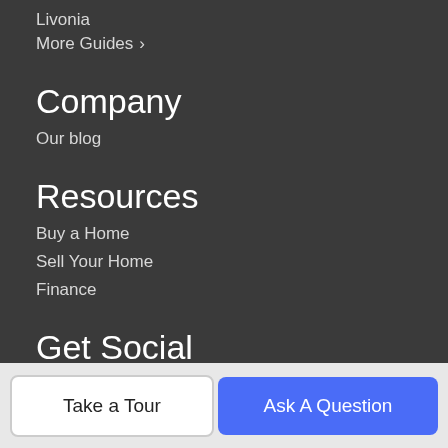Livonia
More Guides >
Company
Our blog
Resources
Buy a Home
Sell Your Home
Finance
Get Social
[Figure (logo): Orange circle RSS feed icon]
About Us
Take a Tour
Ask A Question